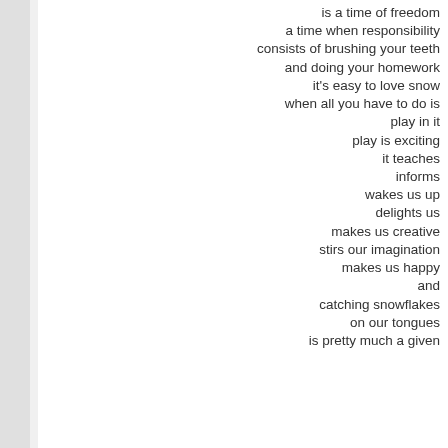is a time of freedom
a time when responsibility
consists of brushing your teeth
and doing your homework
it's easy to love snow
when all you have to do is
play in it
play is exciting
it teaches
informs
wakes us up
delights us
makes us creative
stirs our imagination
makes us happy
and
catching snowflakes
on our tongues
is pretty much a given